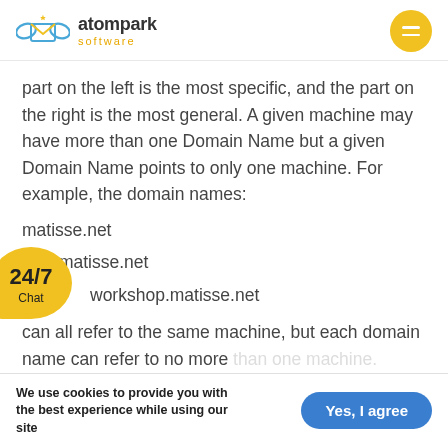atompark software
part on the left is the most specific, and the part on the right is the most general. A given machine may have more than one Domain Name but a given Domain Name points to only one machine. For example, the domain names:
matisse.net
mail.matisse.net
workshop.matisse.net
can all refer to the same machine, but each domain name can refer to no more
We use cookies to provide you with the best experience while using our site   Yes, I agree